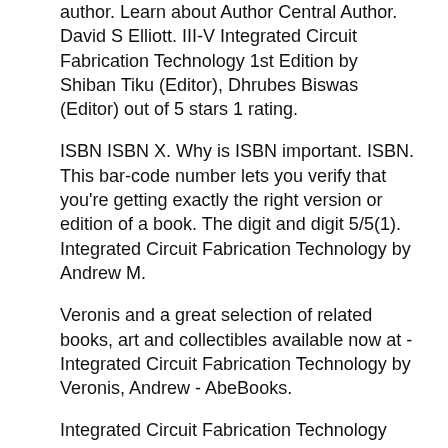author. Learn about Author Central Author. David S Elliott. III-V Integrated Circuit Fabrication Technology 1st Edition by Shiban Tiku (Editor), Dhrubes Biswas (Editor) out of 5 stars 1 rating.
ISBN ISBN X. Why is ISBN important. ISBN. This bar-code number lets you verify that you're getting exactly the right version or edition of a book. The digit and digit 5/5(1). Integrated Circuit Fabrication Technology by Andrew M.
Veronis and a great selection of related books, art and collectibles available now at - Integrated Circuit Fabrication Technology by Veronis, Andrew - AbeBooks.
Integrated Circuit Fabrication Technology book Integrated Circuit Manufacturing Overview. At the highest level, the manufacture of ICs may be broken up into 5 major steps - see figure 1. Figure 1. IC manufacturing. IC Circuit Elements • Resistors Integrated Circuit Fabrication Technology book resists current flow.
• Capacitors - stores charge. • Diodes - allows current to. Electronic Components and Technology